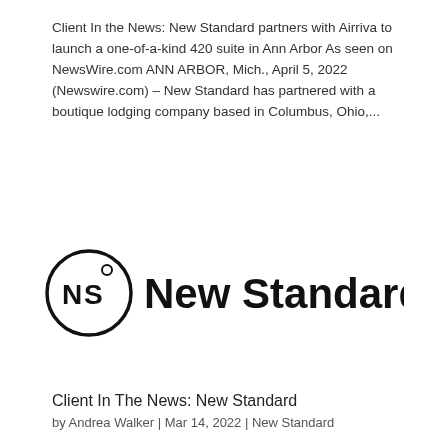Client In the News: New Standard partners with Airriva to launch a one-of-a-kind 420 suite in Ann Arbor As seen on NewsWire.com ANN ARBOR, Mich., April 5, 2022 (Newswire.com) – New Standard has partnered with a boutique lodging company based in Columbus, Ohio,...
[Figure (logo): New Standard logo: a circle containing the letters NS with a superscript-style degree symbol, followed by the text 'New Standard' in bold sans-serif]
Client In The News: New Standard
by Andrea Walker | Mar 14, 2022 | New Standard